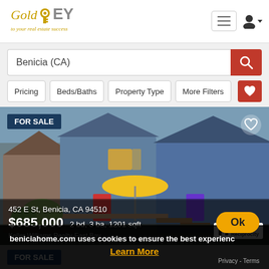[Figure (logo): GoldKEY logo with golden key icon and tagline 'to your real estate success']
Benicia (CA)
Pricing
Beds/Baths
Property Type
More Filters
[Figure (photo): Photo of townhomes/houses in Benicia CA with yellow umbrella on deck, blue siding, colorful doors]
FOR SALE
452 E St, Benicia, CA 94510
$685,000 2 bd, 3 ba, 1201 sqft
Keller Williams Realty-East Bay
FOR SALE
beniciahome.com uses cookies to ensure the best experienc
Learn More
Privacy - Terms